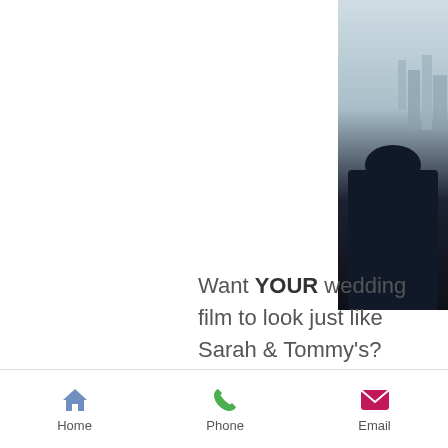[Figure (photo): Partial view of a person standing outdoors near water with city skyline in the background, cropped to right edge of page]
Want YOUR wedding film to look just like Sarah & Tommy's? CLICK HERE to check availability for your date!
ABOUT MUNACO PICTURES
Munaco Pictures specializes in producing the finest cinema quality wedding videography services
Home | Phone | Email